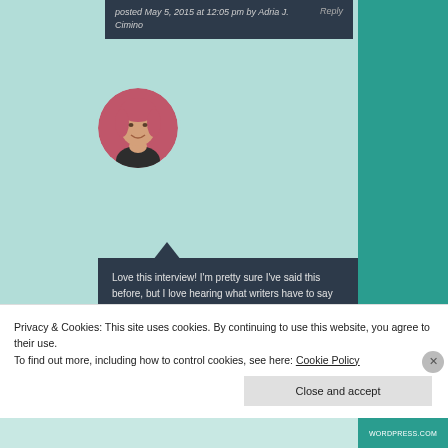posted May 5, 2015 at 12:05 pm by Adria J. Cimino   Reply
[Figure (photo): Circular avatar photo of a woman with red/auburn hair, smiling, wearing dark clothing, against a pink/red background]
Love this interview! I'm pretty sure I've said this before, but I love hearing what writers have to say about their lives and what they like to read, etc. I still have his book on my to-read list – I really do want to read it! I also want to go check out that book by Stanley Crawford…
posted May 5, 2015 at 2:00 pm by Naomi   Reply
Privacy & Cookies: This site uses cookies. By continuing to use this website, you agree to their use.
To find out more, including how to control cookies, see here: Cookie Policy
Close and accept